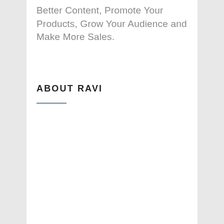Better Content, Promote Your Products, Grow Your Audience and Make More Sales.
ABOUT RAVI